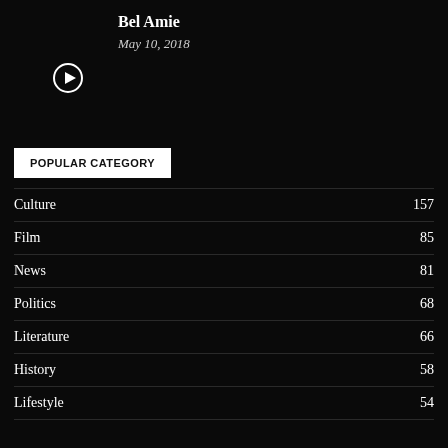Bel Amie
May 10, 2018
POPULAR CATEGORY
Culture 157
Film 85
News 81
Politics 68
Literature 66
History 58
Lifestyle 54